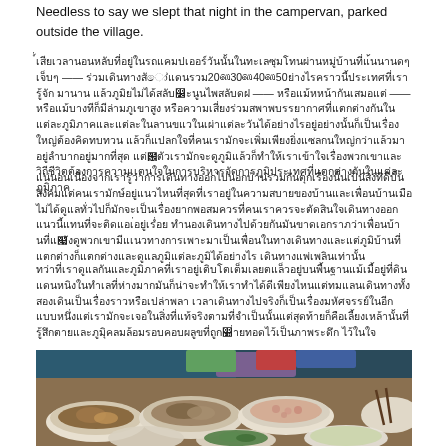Needless to say we slept that night in the campervan, parked outside the village.
[Thai text paragraph 1 - contains Thai script characters with numbers 20, 30, 40, 50]
[Thai text paragraph 2]
[Thai text paragraph 3]
[Figure (photo): A spread of various Thai dishes in white bowls and plates on a table, including vegetables, mushrooms, meat dishes, and peanuts, with people in colorful traditional clothing visible in the background holding chopsticks.]